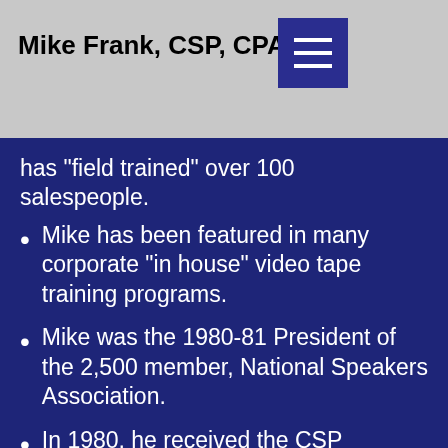Mike Frank, CSP, CPAE
has "field trained" over 100 salespeople.
Mike has been featured in many corporate "in house" video tape training programs.
Mike was the 1980-81 President of the 2,500 member, National Speakers Association.
In 1980, he received the CSP designation (Certified Speaking Professional)